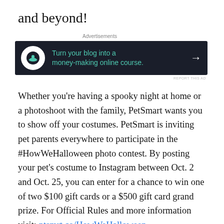and beyond!
[Figure (other): Advertisement banner: dark background with bonsai tree icon, text 'Turn your blog into a money-making online course.' with arrow]
Whether you're having a spooky night at home or a photoshoot with the family, PetSmart wants you to show off your costumes. PetSmart is inviting pet parents everywhere to participate in the #HowWeHalloween photo contest. By posting your pet's costume to Instagram between Oct. 2 and Oct. 25, you can enter for a chance to win one of two $100 gift cards or a $500 gift card grand prize. For Official Rules and more information visit: ptsmrt.co/HowWeHalloween.
For more information, including PetSmart's full Halloween collection, visit petsmart.com/halloween